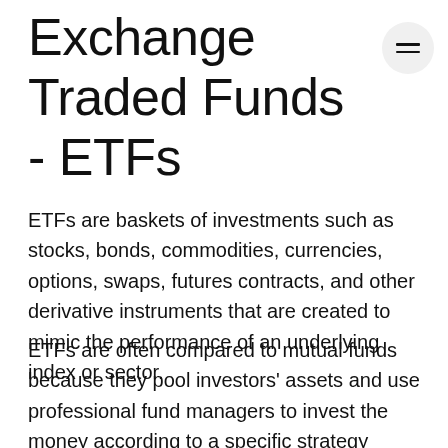Exchange Traded Funds - ETFs
ETFs are baskets of investments such as stocks, bonds, commodities, currencies, options, swaps, futures contracts, and other derivative instruments that are created to mimic the performance of an underlying index or sector.
ETFs are often compared to mutual funds because they pool investors' assets and use professional fund managers to invest the money according to a specific strategy detailed in the fund's prospectus. Unlike a mutual fund, which is bought or sold directly